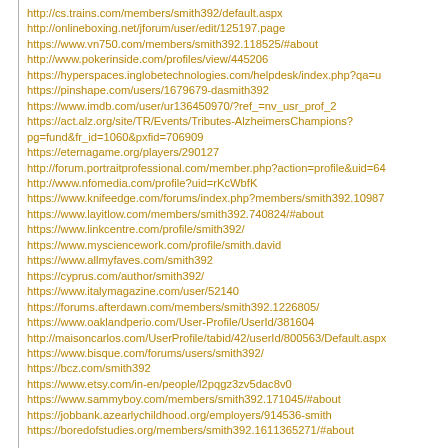http://cs.trains.com/members/smith392/default.aspx
http://onlineboxing.net/jforum/user/edit/125197.page
https://www.vn750.com/members/smith392.118525/#about
http://www.pokerinside.com/profiles/view/445206
https://hyperspaces.inglobetechnologies.com/helpdesk/index.php?qa=u
https://pinshape.com/users/1679679-dasmith392
https://www.imdb.com/user/ur136450970/?ref_=nv_usr_prof_2
https://act.alz.org/site/TR/Events/Tributes-AlzheimersChampions?pg=fund&fr_id=1060&pxfid=706909
https://eternagame.org/players/290127
http://forum.portraitprofessional.com/member.php?action=profile&uid=64
http://www.nfomedia.com/profile?uid=rKcWbfK
https://www.knifeedge.com/forums/index.php?members/smith392.10987
https://www.layitlow.com/members/smith392.740824/#about
https://www.linkcentre.com/profile/smith392/
https://www.mysciencework.com/profile/smith.david
https://www.allmyfaves.com/smith392
https://cyprus.com/author/smith392/
https://www.italymagazine.com/user/52140
https://forums.afterdawn.com/members/smith392.1226805/
https://www.oaklandperio.com/User-Profile/UserId/381604
http://maisoncarlos.com/UserProfile/tabid/42/userId/800563/Default.aspx
https://www.bisque.com/forums/users/smith392/
https://bcz.com/smith392
https://www.etsy.com/in-en/people/l2pqgz3zv5dac8v0
https://www.sammyboy.com/members/smith392.171045/#about
https://jobbank.azearlychildhood.org/employers/914536-smith
https://boredofstudies.org/members/smith392.1611365271/#about